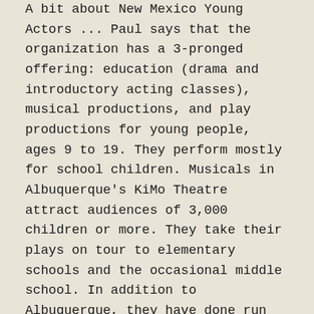A bit about New Mexico Young Actors ... Paul says that the organization has a 3-pronged offering: education (drama and introductory acting classes), musical productions, and play productions for young people, ages 9 to 19. They perform mostly for school children. Musicals in Albuquerque's KiMo Theatre attract audiences of 3,000 children or more. They take their plays on tour to elementary schools and the occasional middle school. In addition to Albuquerque, they have done run outs to Grants, Los Lunas, Cuba, and a number of New Mexico Pueblos. In order to participate in these outreach activities, the kids who perform in their plays miss 3-4 days of school per academic year. NMPAS soprano Esther Moses Bergh has brought her 2 children to a number of New Mexico Young Actors' shows.
Paul met his wife Ling at UNM. He was teaching a voice class and needed a pianist. She was assigned to